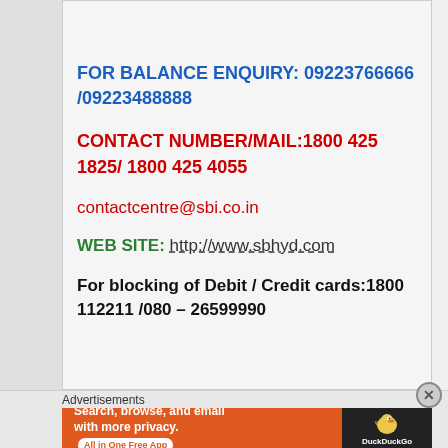FOR BALANCE ENQUIRY: 09223766666 /09223488888
CONTACT NUMBER/MAIL:1800 425 1825/ 1800 425 4055
contactcentre@sbi.co.in
WEB SITE: http://www.sbhyd.com
For blocking of Debit / Credit cards:1800 112211 /080 – 26599990
Advertisements
[Figure (illustration): DuckDuckGo advertisement banner: orange background with text 'Search, browse, and email with more privacy. All in One Free App' and DuckDuckGo logo on dark background on the right.]